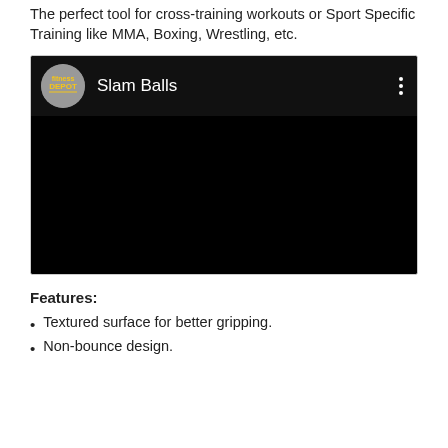The perfect tool for cross-training workouts or Sport Specific Training like MMA, Boxing, Wrestling, etc.
[Figure (screenshot): Embedded video player showing a Fitness Depot YouTube channel video titled 'Slam Balls'. The video thumbnail area is black with a channel logo and name visible at the top.]
Features:
Textured surface for better gripping.
Non-bounce design.